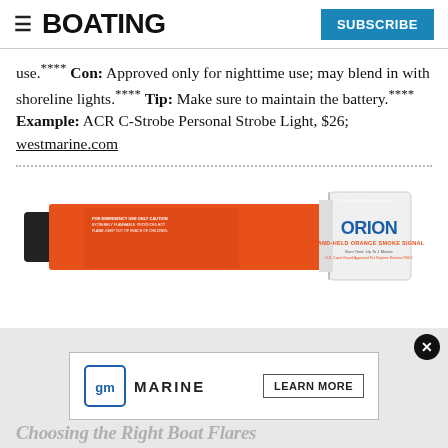BOATING | SUBSCRIBE
use.**** Con: Approved only for nighttime use; may blend in with shoreline lights.**** Tip: Make sure to maintain the battery.**** Example: ACR C-Strobe Personal Strobe Light, $26; westmarine.com
[Figure (photo): Orion Hand-Held Orange Smoke Signal flare product photo — orange cylindrical tube with black cap on one end and white cap on other end, labeled ORION HAND-HELD ORANGE SMOKE SIGNAL]
[Figure (logo): GM Marine advertisement banner with GM logo and LEARN MORE button]
Choosing the Right Boat Flares